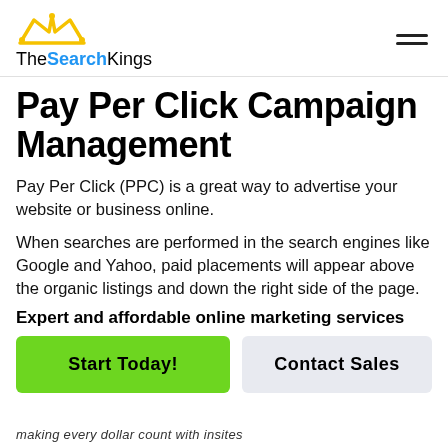[Figure (logo): TheSearchKings logo with crown icon, 'The' and 'Kings' in black, 'Search' in blue bold text]
Pay Per Click Campaign Management
Pay Per Click (PPC) is a great way to advertise your website or business online.
When searches are performed in the search engines like Google and Yahoo, paid placements will appear above the organic listings and down the right side of the page.
Expert and affordable online marketing services
Start Today!
Contact Sales
making every dollar count with insites